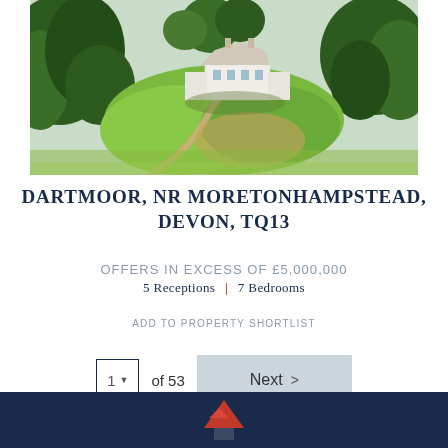[Figure (photo): Aerial view of a large country house with white facade, surrounded by extensive green lawns and mature trees, with a curved driveway, in Dartmoor, Devon.]
DARTMOOR, NR MORETONHAMPSTEAD, DEVON, TQ13
OFFERS IN EXCESS OF £5,000,000
5 Receptions | 7 Bedrooms
ADD TO PROPERTY SHORTLIST